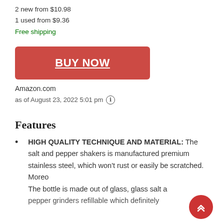2 new from $10.98
1 used from $9.36
Free shipping
BUY NOW
Amazon.com
as of August 23, 2022 5:01 pm
Features
HIGH QUALITY TECHNIQUE AND MATERIAL: The salt and pepper shakers is manufactured premium stainless steel, which won't rust or easily be scratched. Moreover, The bottle is made out of glass, glass salt and pepper grinders refillable which definitely